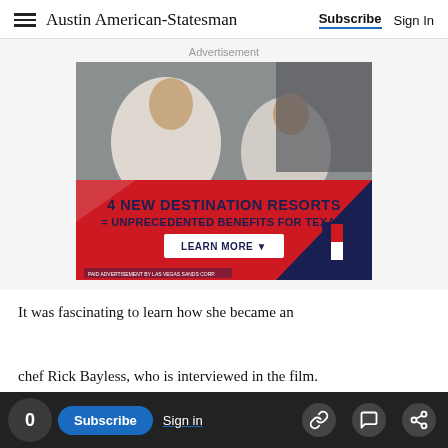Austin American-Statesman | Subscribe  Sign In
Advertisement
[Figure (photo): Advertisement image: Two people relaxing in spa robes in reclined chairs. Red background banner reads '4 NEW DESTINATION RESORTS = UNPRECEDENTED BENEFITS FOR TEXAS. LEARN MORE.' Las Vegas Sands Corp paid advertisement logo in bottom right.]
It was fascinating to learn how she became an
chef Rick Bayless, who is interviewed in the film.